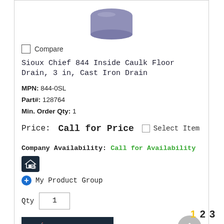[Figure (photo): Partial product photo of a purple/grey cylindrical floor drain component, cropped at top]
Compare
Sioux Chief 844 Inside Caulk Floor Drain, 3 in, Cast Iron Drain
MPN: 844-0SL
Part#: 128764
Min. Order Qty: 1
Price: Call for Price
Company Availability: Call for Availability
My Product Group
Qty  1
ADD TO CART
1  2  3